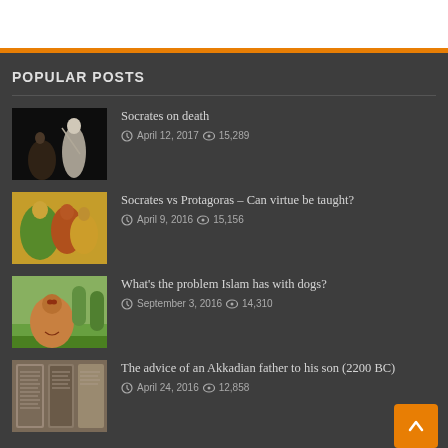POPULAR POSTS
Socrates on death | April 12, 2017 | 15,289
Socrates vs Protagoras – Can virtue be taught? | April 9, 2016 | 15,156
What's the problem Islam has with dogs? | September 3, 2016 | 14,310
The advice of an Akkadian father to his son (2200 BC) | April 24, 2016 | 12,858